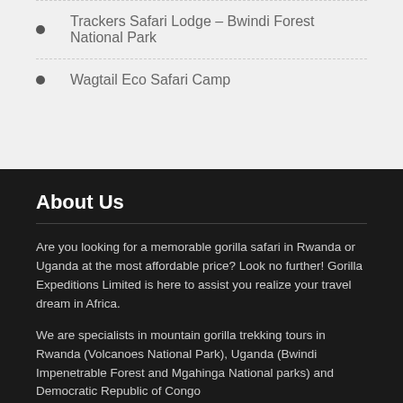Trackers Safari Lodge – Bwindi Forest National Park
Wagtail Eco Safari Camp
About Us
Are you looking for a memorable gorilla safari in Rwanda or Uganda at the most affordable price? Look no further! Gorilla Expeditions Limited is here to assist you realize your travel dream in Africa.
We are specialists in mountain gorilla trekking tours in Rwanda (Volcanoes National Park), Uganda (Bwindi Impenetrable Forest and Mgahinga National parks) and Democratic Republic of Congo